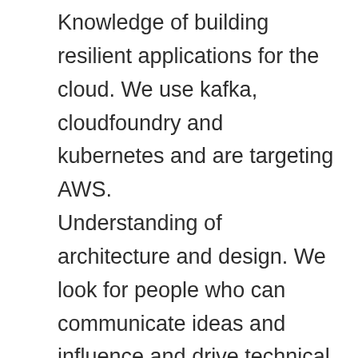Knowledge of building resilient applications for the cloud. We use kafka, cloudfoundry and kubernetes and are targeting AWS.
Understanding of architecture and design. We look for people who can communicate ideas and influence and drive technical solutions.
Passionate about building an innovative culture.
J.P. Morgan is a global leader in financial services, providing strategic advice and products to the world's most prominent corporations, governments, wealthy individuals and institutional investors. Our first-class business in a first-class way approach to serving clients drives everything we do. We strive to build trusted, long-term partnerships to help our clients achieve their business objectives.
We recognize that our people are our strength and